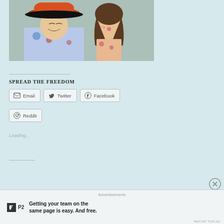[Figure (photo): A man wearing an orange hat and floral outfit with a woman behind him blowing a kiss, on a light background]
SPREAD THE FREEDOM
Email  Twitter  Facebook  Reddit
Loading..
Advertisements
Getting your team on the same page is easy. And free.